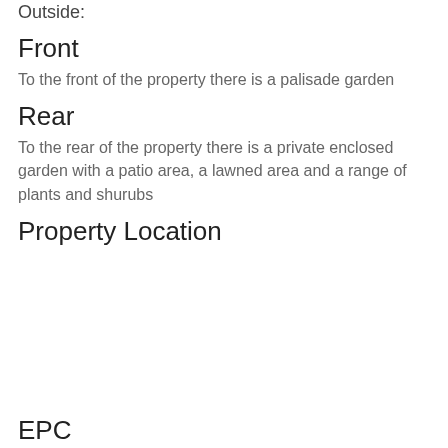Outside:
Front
To the front of the property there is a palisade garden
Rear
To the rear of the property there is a private enclosed garden with a patio area, a lawned area and a range of plants and shurubs
Property Location
EPC